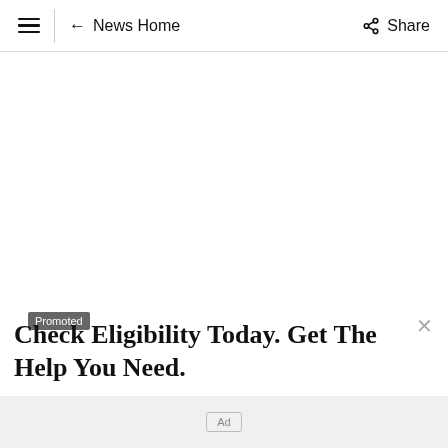≡ ← News Home Share
Promoted
Check Eligibility Today. Get The Help You Need.
Ad